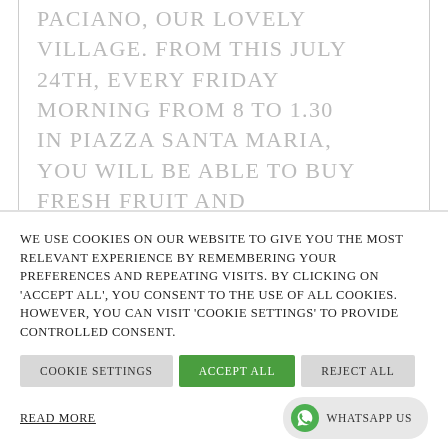Paciano, our lovely village. From this July 24th, every Friday morning from 8 to 1.30 in Piazza Santa Maria, you will be able to buy fresh fruit and vegetables, local food,
We use cookies on our website to give you the most relevant experience by remembering your preferences and repeating visits. By clicking on 'Accept all', you consent to the use of ALL cookies. However, you can visit 'Cookie Settings' to provide controlled consent.
Cookie Settings
Accept All
Reject All
Read more
WhatsApp us